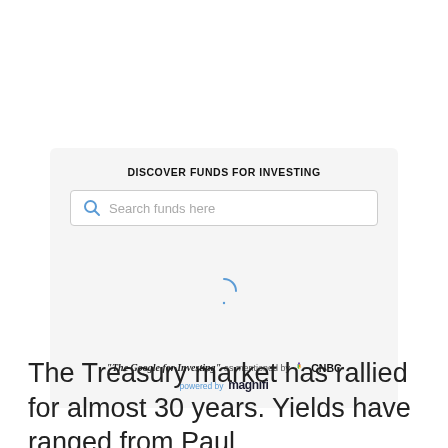[Figure (screenshot): A fund discovery widget with title 'DISCOVER FUNDS FOR INVESTING', a search bar reading 'Search funds here', a loading spinner, and a footer saying '"The Google for Investing" as mentioned by CNBC, powered by magnifi'.]
The Treasury market has rallied for almost 30 years. Yields have ranged from Paul